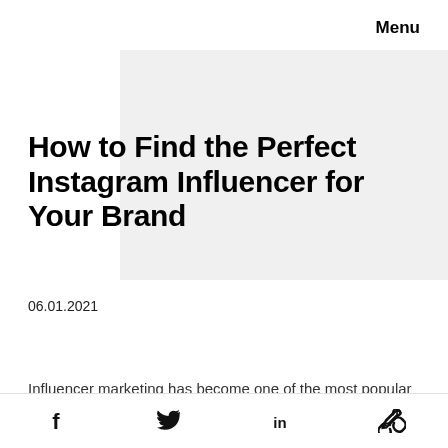Menu
How to Find the Perfect Instagram Influencer for Your Brand
06.01.2021
Influencer marketing has become one of the most popular